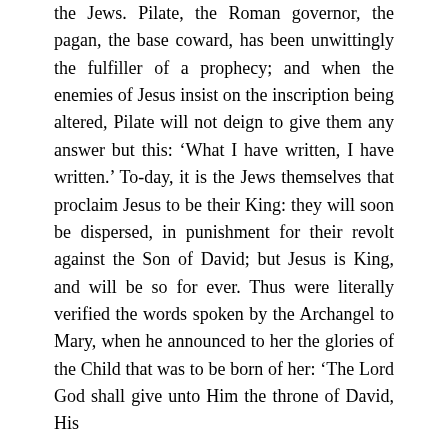the Jews. Pilate, the Roman governor, the pagan, the base coward, has been unwittingly the fulfiller of a prophecy; and when the enemies of Jesus insist on the inscription being altered, Pilate will not deign to give them any answer but this: ‘What I have written, I have written.’ To-day, it is the Jews themselves that proclaim Jesus to be their King: they will soon be dispersed, in punishment for their revolt against the Son of David; but Jesus is King, and will be so for ever. Thus were literally verified the words spoken by the Archangel to Mary, when he announced to her the glories of the Child that was to be born of her: ‘The Lord God shall give unto Him the throne of David, His